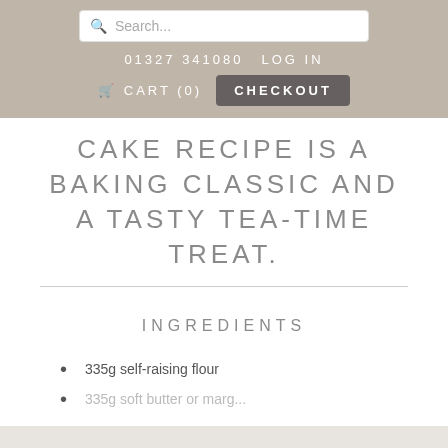[Figure (screenshot): Website navigation header with search bar, phone number 01327 341080, LOG IN link, CART (0), and CHECKOUT button on a tan/beige background]
CAKE RECIPE IS A BAKING CLASSIC AND A TASTY TEA-TIME TREAT.
INGREDIENTS
335g self-raising flour
(partially visible item below)